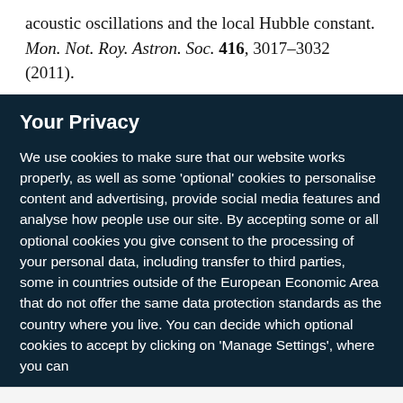acoustic oscillations and the local Hubble constant. Mon. Not. Roy. Astron. Soc. 416, 3017–3032 (2011).
Your Privacy
We use cookies to make sure that our website works properly, as well as some 'optional' cookies to personalise content and advertising, provide social media features and analyse how people use our site. By accepting some or all optional cookies you give consent to the processing of your personal data, including transfer to third parties, some in countries outside of the European Economic Area that do not offer the same data protection standards as the country where you live. You can decide which optional cookies to accept by clicking on 'Manage Settings', where you can
Get the most important science stories of the day, free in your inbox.
Sign up for Nature Briefing